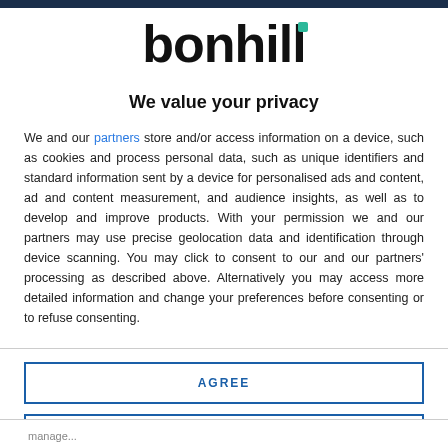[Figure (logo): Bonhill logo — wordmark in bold black with a small teal/green square accent above the letter i]
We value your privacy
We and our partners store and/or access information on a device, such as cookies and process personal data, such as unique identifiers and standard information sent by a device for personalised ads and content, ad and content measurement, and audience insights, as well as to develop and improve products. With your permission we and our partners may use precise geolocation data and identification through device scanning. You may click to consent to our and our partners' processing as described above. Alternatively you may access more detailed information and change your preferences before consenting or to refuse consenting.
AGREE
MORE OPTIONS